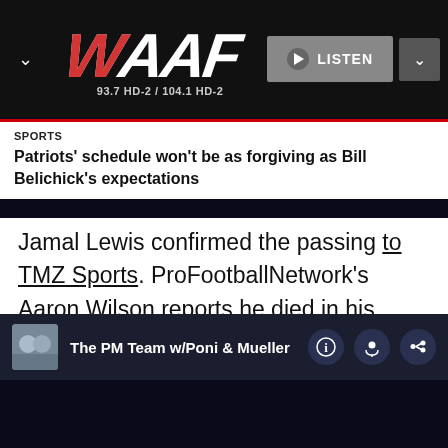[Figure (logo): WAAF radio station logo with stylized text, 93.7 HD-2 / 104.1 HD-2, with LISTEN button and navigation chevrons on black header bar]
SPORTS
Patriots' schedule won't be as forgiving as Bill Belichick's expectations
Jamal Lewis confirmed the passing to TMZ Sports. ProFootballNetwork's Aaron Wilson reports he died in his sleep although the cause is still unknown.
The PM Team w/Poni & Mueller